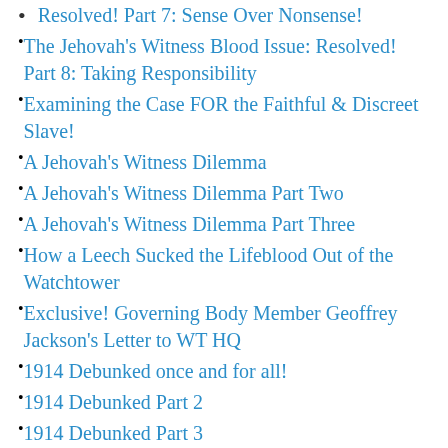Resolved! Part 7: Sense Over Nonsense!
The Jehovah's Witness Blood Issue: Resolved! Part 8: Taking Responsibility
Examining the Case FOR the Faithful & Discreet Slave!
A Jehovah's Witness Dilemma
A Jehovah's Witness Dilemma Part Two
A Jehovah's Witness Dilemma Part Three
How a Leech Sucked the Lifeblood Out of the Watchtower
Exclusive! Governing Body Member Geoffrey Jackson's Letter to WT HQ
1914 Debunked once and for all!
1914 Debunked Part 2
1914 Debunked Part 3
1914 Debunked Part 4
The Distinct Article From Being Used…